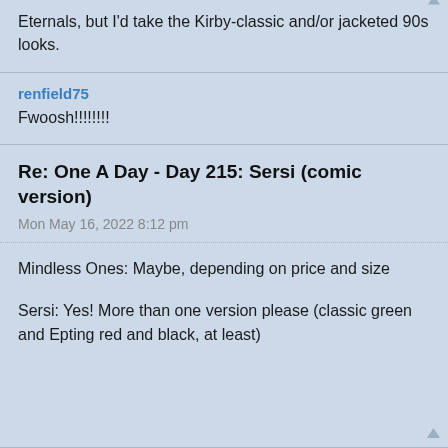Eternals, but I'd take the Kirby-classic and/or jacketed 90s looks.
renfield75
Fwoosh!!!!!!!!
Re: One A Day - Day 215: Sersi (comic version)
Mon May 16, 2022 8:12 pm
Mindless Ones: Maybe, depending on price and size
Sersi: Yes! More than one version please (classic green and Epting red and black, at least)